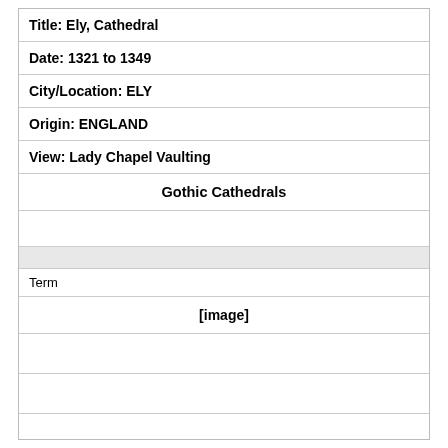Title: Ely, Cathedral
Date: 1321 to 1349
City/Location: ELY
Origin: ENGLAND
View: Lady Chapel Vaulting
Gothic Cathedrals
Term
[Figure (other): [image] placeholder for cathedral image]